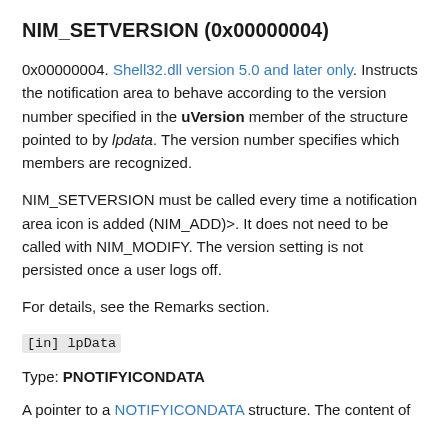NIM_SETVERSION (0x00000004)
0x00000004. Shell32.dll version 5.0 and later only. Instructs the notification area to behave according to the version number specified in the uVersion member of the structure pointed to by lpdata. The version number specifies which members are recognized.
NIM_SETVERSION must be called every time a notification area icon is added (NIM_ADD)>. It does not need to be called with NIM_MODIFY. The version setting is not persisted once a user logs off.
For details, see the Remarks section.
[in] lpData
Type: PNOTIFYICONDATA
A pointer to a NOTIFYICONDATA structure. The content of